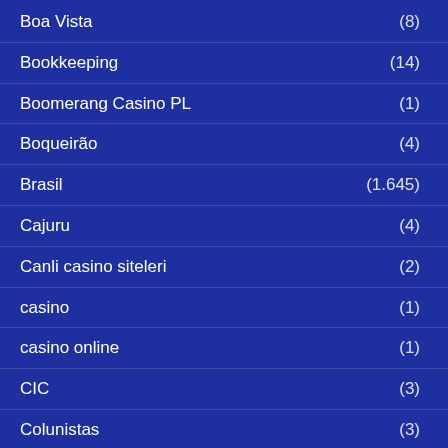Boa Vista (8)
Bookkeeping (14)
Boomerang Casino PL (1)
Boqueirão (4)
Brasil (1.645)
Cajuru (4)
Canli casino siteleri (2)
casino (1)
casino online (1)
CIC (3)
Colunistas (3)
Crypto Blog (1)